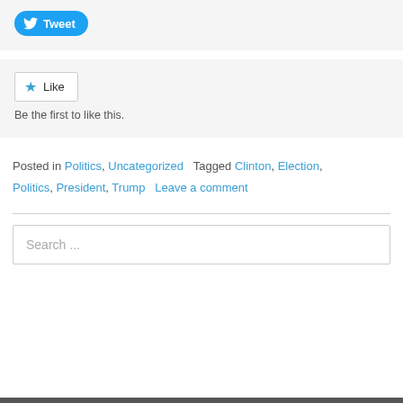[Figure (other): Tweet button widget with Twitter bird icon]
[Figure (other): Like button with star icon and text 'Be the first to like this.']
Be the first to like this.
Posted in Politics, Uncategorized   Tagged Clinton, Election, Politics, President, Trump   Leave a comment
Search ...